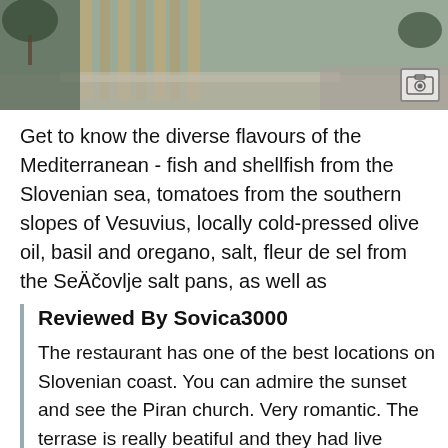[Figure (photo): Exterior/courtyard photo of a restaurant or hotel with wooden paneling and stone path, partially visible]
Get to know the diverse flavours of the Mediterranean - fish and shellfish from the Slovenian sea, tomatoes from the southern slopes of Vesuvius, locally cold-pressed olive oil, basil and oregano, salt, fleur de sel from the Sečovlje salt pans, as well as
Reviewed By Sovica3000
The restaurant has one of the best locations on Slovenian coast. You can admire the sunset and see the Piran church. Very romantic. The terrase is really beatiful and they had live music. But with this the possitive experience ended. The weiters are a bit lost, and though they boasted Neapoletan pizza, which is what we came for, it was just an ordinary Slovenian pizza. The dough was full and extremely chewy...